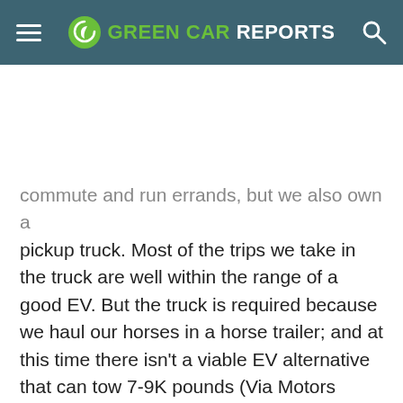GREEN CAR REPORTS
commute and run errands, but we also own a pickup truck. Most of the trips we take in the truck are well within the range of a good EV. But the truck is required because we haul our horses in a horse trailer; and at this time there isn't a viable EV alternative that can tow 7-9K pounds (Via Motors while interesting, is a shade out of our price range).
So even though if you just looked at range we COULD do many more of our trips via the EV; the